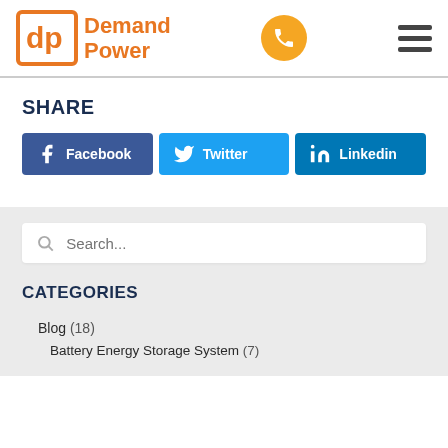[Figure (logo): Demand Power logo with orange square icon and orange text]
SHARE
Facebook | Twitter | Linkedin share buttons
[Figure (other): Search input box with magnifying glass icon and placeholder text 'Search...']
CATEGORIES
Blog (18)
Battery Energy Storage System (7)